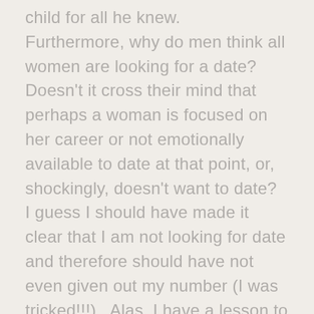child for all he knew.  Furthermore, why do men think all women are looking for a date?  Doesn't it cross their mind that perhaps a woman is focused on her career or not emotionally available to date at that point, or, shockingly, doesn't want to date?  I guess I should have made it clear that I am not looking for date and therefore should have not even given out my number (I was tricked!!!).  Alas, I have a lesson to learn as well, and it's called being a hardass and not giving out my number like it's free contraception.  Stupid Pollyanna syndrome.
Also, you (aka creeper male) might have a better chance if the woman you had creeped on didn't return to the exact same Coffee Bean to witness